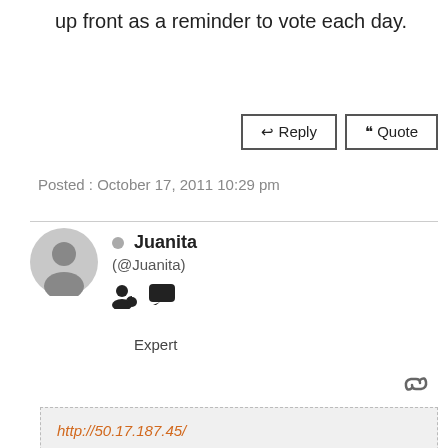up front as a reminder to vote each day.
Reply  Quote
Posted : October 17, 2011 10:29 pm
Juanita (@Juanita) Expert
http://50.17.187.45/

Here ya go! This will take you right to it. Please vote.

Thanks!!